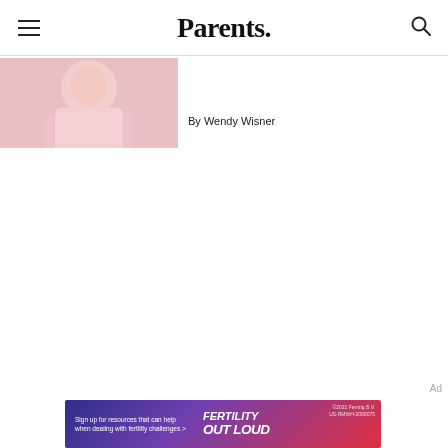Parents.
[Figure (photo): Woman in pink top, partial upper body view, article thumbnail image]
By Wendy Wisner
[Figure (infographic): Advertisement banner: Fertility Out Loud - Sign up for resources that can help when dealing with fertility challenges >]